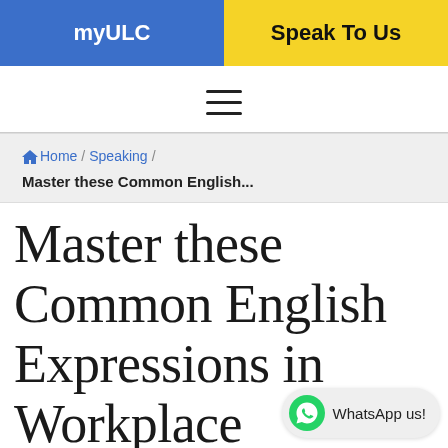myULC | Speak To Us
[Figure (other): Hamburger menu icon (three horizontal lines)]
Home / Speaking / Master these Common English...
Master these Common English Expressions in Workplace Conversations